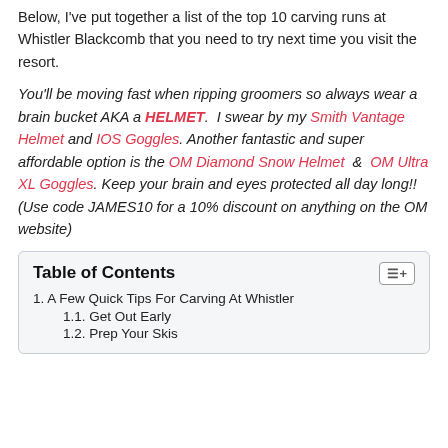Below, I've put together a list of the top 10 carving runs at Whistler Blackcomb that you need to try next time you visit the resort.
You'll be moving fast when ripping groomers so always wear a brain bucket AKA a HELMET. I swear by my Smith Vantage Helmet and IOS Goggles. Another fantastic and super affordable option is the OM Diamond Snow Helmet & OM Ultra XL Goggles. Keep your brain and eyes protected all day long!! (Use code JAMES10 for a 10% discount on anything on the OM website)
| Table of Contents |  |
| 1. A Few Quick Tips For Carving At Whistler |  |
| 1.1. Get Out Early |  |
| 1.2. Prep Your Skis |  |